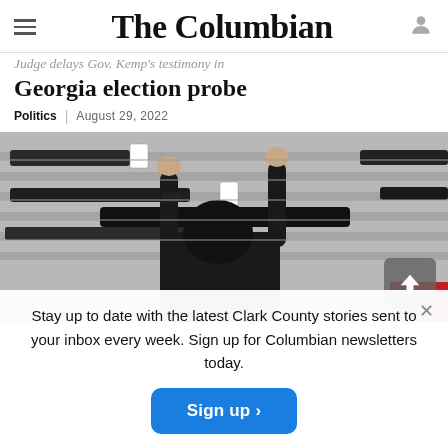The Columbian
Judge delays Gov. Kemp's testimony in Georgia election probe
Politics | August 29, 2022
[Figure (photo): Person reaching up to handle a firearm on a wall-mounted gun rack display in a gun shop, with multiple rifles displayed on slatwall panels with price tags.]
Stay up to date with the latest Clark County stories sent to your inbox every week. Sign up for Columbian newsletters today.